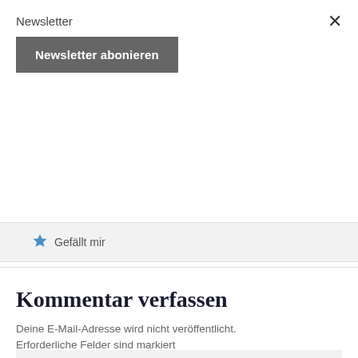Newsletter
Newsletter abonieren
Gefällt mir
Kommentar verfassen
Deine E-Mail-Adresse wird nicht veröffentlicht. Erforderliche Felder sind markiert